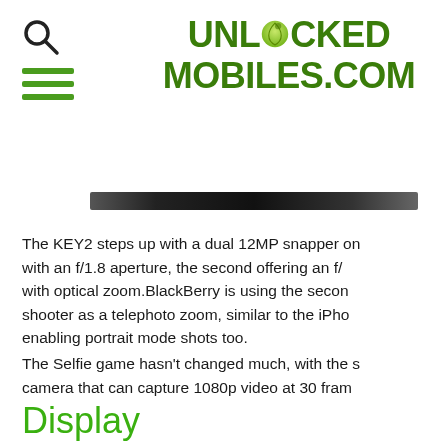UNLOCKED MOBILES.COM
[Figure (other): Dark horizontal banner/bar image]
The KEY2 steps up with a dual 12MP snapper on the back, with an f/1.8 aperture, the second offering an f/ with optical zoom.BlackBerry is using the secon shooter as a telephoto zoom, similar to the iPho enabling portrait mode shots too.
The Selfie game hasn't changed much, with the s camera that can capture 1080p video at 30 fram
Display